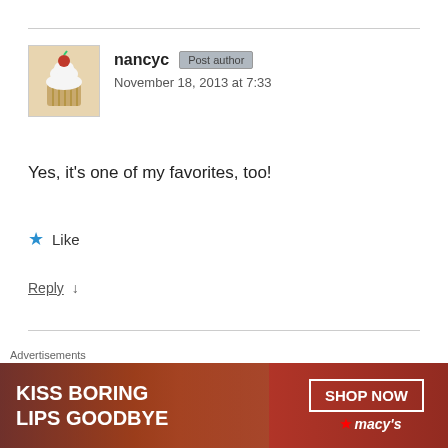nancyc  Post author  November 18, 2013 at 7:33
Yes, it’s one of my favorites, too!
★ Like
Reply ↓
Pingback: » Stay Healthy This Summer Alexia's CSU Stan
West Coast Jan Williams
[Figure (photo): Macy's advertisement banner: 'KISS BORING LIPS GOODBYE' with red lips photo and SHOP NOW button]
Advertisements